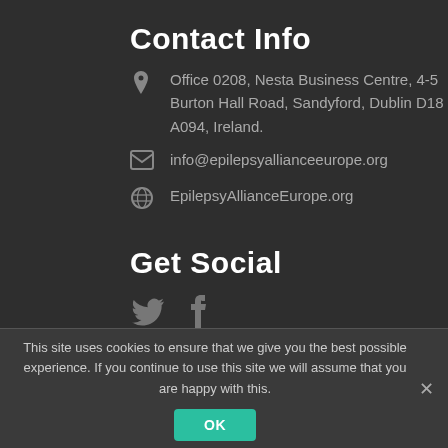Contact Info
Office 0208, Nesta Business Centre, 4-5 Burton Hall Road, Sandyford, Dublin D18 A094, Ireland.
info@epilepsyallianceeurope.org
EpilepsyAllianceEurope.org
Get Social
[Figure (illustration): Twitter bird icon and Facebook f icon in grey]
This site uses cookies to ensure that we give you the best possible experience. If you continue to use this site we will assume that you are happy with this.